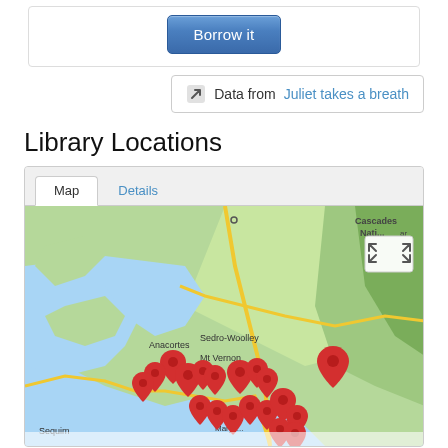[Figure (screenshot): A 'Borrow it' button rendered as a blue rounded rectangle button]
Data from Juliet takes a breath
Library Locations
[Figure (map): Google Maps showing library locations in the Pacific Northwest (Washington state) area with red pin markers clustered around Anacortes, Sedro-Woolley, Mt Vernon, and surrounding areas. A fullscreen expand button is visible in the top right of the map. Tabs labeled 'Map' and 'Details' appear above the map.]